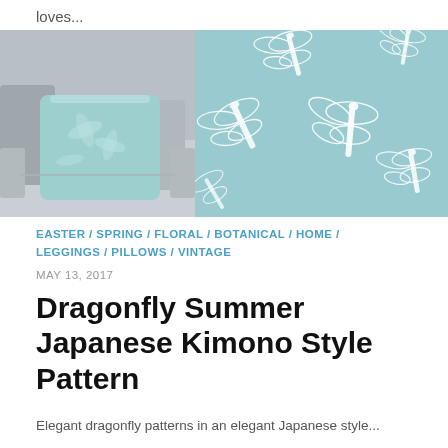loves...
[Figure (photo): Two side-by-side images: left shows a light blue/teal dragonfly-patterned throw pillow on a grey sofa; right shows a teal background with white dragonfly pattern repeating.]
EASTER / SPRING / FLORAL / BOTANICAL / HOME / LEGGINGS / PILLOWS / VINTAGE
MAY 13, 2017
Dragonfly Summer Japanese Kimono Style Pattern
Elegant dragonfly patterns in an elegant Japanese style...